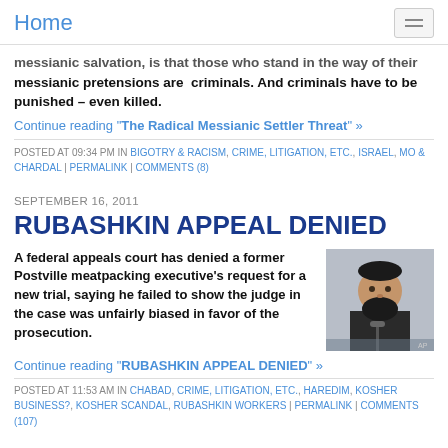Home
messianic salvation, is that those who stand in the way of their messianic pretensions are criminals. And criminals have to be punished – even killed.
Continue reading "The Radical Messianic Settler Threat" »
POSTED AT 09:34 PM IN BIGOTRY & RACISM, CRIME, LITIGATION, ETC., ISRAEL, MO & CHARDAL | PERMALINK | COMMENTS (8)
SEPTEMBER 16, 2011
RUBASHKIN APPEAL DENIED
A federal appeals court has denied a former Postville meatpacking executive's request for a new trial, saying he failed to show the judge in the case was unfairly biased in favor of the prosecution.
[Figure (photo): Photo of a bearded man at a microphone, appearing to be in a courtroom or formal setting]
Continue reading "RUBASHKIN APPEAL DENIED" »
POSTED AT 11:53 AM IN CHABAD, CRIME, LITIGATION, ETC., HAREDIM, KOSHER BUSINESS?, KOSHER SCANDAL, RUBASHKIN WORKERS | PERMALINK | COMMENTS (107)